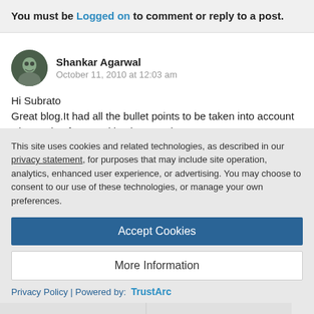You must be Logged on to comment or reply to a post.
Shankar Agarwal
October 11, 2010 at 12:03 am
Hi Subrato
Great blog.It had all the bullet points to be taken into account when going for Portal implementation.
Like 0  |  Share
This site uses cookies and related technologies, as described in our privacy statement, for purposes that may include site operation, analytics, enhanced user experience, or advertising. You may choose to consent to our use of these technologies, or manage your own preferences.
Accept Cookies
More Information
Privacy Policy | Powered by: TrustArc